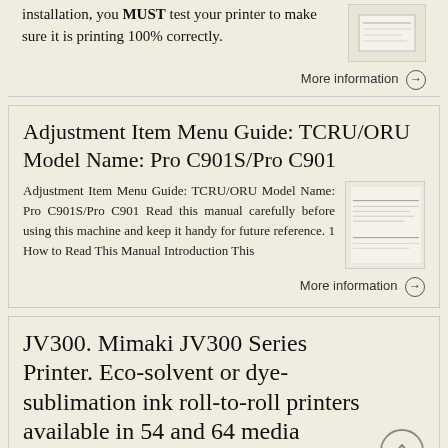installation, you MUST test your printer to make sure it is printing 100% correctly.
More information →
Adjustment Item Menu Guide: TCRU/ORU Model Name: Pro C901S/Pro C901
Adjustment Item Menu Guide: TCRU/ORU Model Name: Pro C901S/Pro C901 Read this manual carefully before using this machine and keep it handy for future reference. 1 How to Read This Manual Introduction This
[Figure (photo): Thumbnail image of a document page]
More information →
JV300. Mimaki JV300 Series Printer. Eco-solvent or dye-sublimation ink roll-to-roll printers available in 54 and 64 media
JV300. Mimaki JV300 Series Printer. Eco-